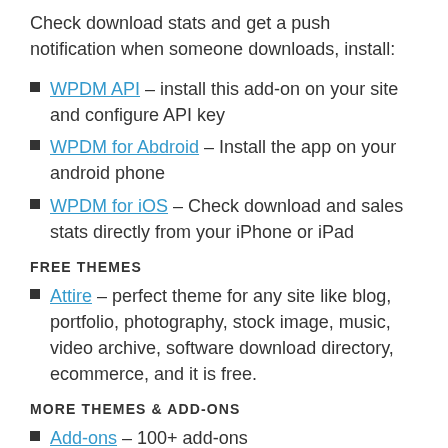Check download stats and get a push notification when someone downloads, install:
WPDM API – install this add-on on your site and configure API key
WPDM for Abdroid – Install the app on your android phone
WPDM for iOS – Check download and sales stats directly from your iPhone or iPad
FREE THEMES
Attire – perfect theme for any site like blog, portfolio, photography, stock image, music, video archive, software download directory, ecommerce, and it is free.
MORE THEMES & ADD-ONS
Add-ons – 100+ add-ons